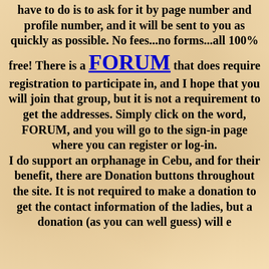have to do is to ask for it by page number and profile number, and it will be sent to you as quickly as possible. No fees...no forms...all 100% free! There is a FORUM that does require registration to participate in, and I hope that you will join that group, but it is not a requirement to get the addresses. Simply click on the word, FORUM, and you will go to the sign-in page where you can register or log-in. I do support an orphanage in Cebu, and for their benefit, there are Donation buttons throughout the site. It is not required to make a donation to get the contact information of the ladies, but a donation (as you can well guess) will enhance...